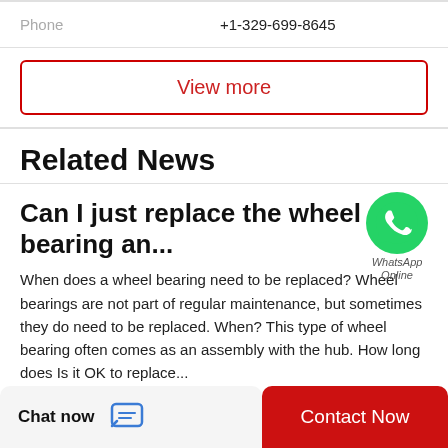Phone   +1-329-699-8645
View more
Related News
Can I just replace the wheel bearing an...
When does a wheel bearing need to be replaced? Wheel bearings are not part of regular maintenance, but sometimes they do need to be replaced. When? This type of wheel bearing often comes as an assembly with the hub. How long does Is it OK to replace...
[Figure (logo): WhatsApp green circle icon with phone handset, labeled 'WhatsApp' and 'Online']
Chat now   Contact Now